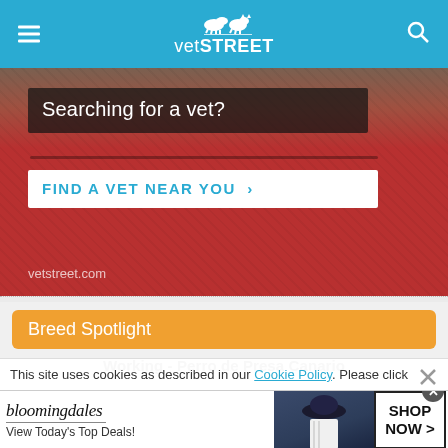vetSTREET
[Figure (screenshot): Banner image showing a red fabric/carrier with text overlay 'Searching for a vet?' and a 'FIND A VET NEAR YOU >' button on white background, with vetstreet.com URL at bottom left]
Breed Spotlight
Working - Perro de Presa Canario
This site uses cookies as described in our Cookie Policy. Please click
[Figure (illustration): Bloomingdales advertisement with logo, 'View Today's Top Deals!' text, fashion image, and SHOP NOW > button]